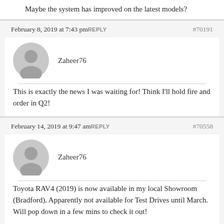Maybe the system has improved on the latest models?
February 8, 2019 at 7:43 pmREPLY #70191
Zaheer76
This is exactly the news I was waiting for! Think I'll hold fire and order in Q2!
February 14, 2019 at 9:47 amREPLY #70558
Zaheer76
Toyota RAV4 (2019) is now available in my local Showroom (Bradford). Apparently not available for Test Drives until March. Will pop down in a few mins to check it out!